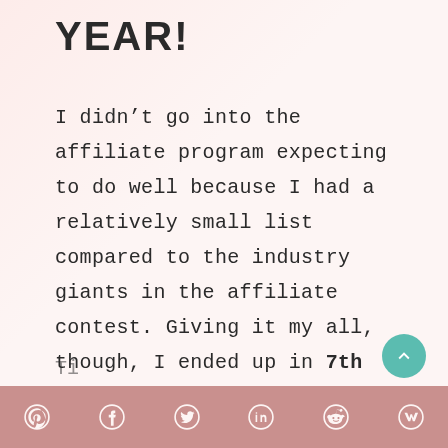YEAR!
I didn't go into the affiliate program expecting to do well because I had a relatively small list compared to the industry giants in the affiliate contest. Giving it my all, though, I ended up in 7th place – beating a lot of these industry giants!
Social share icons: Pinterest, Facebook, Twitter, LinkedIn, Reddit, Mix